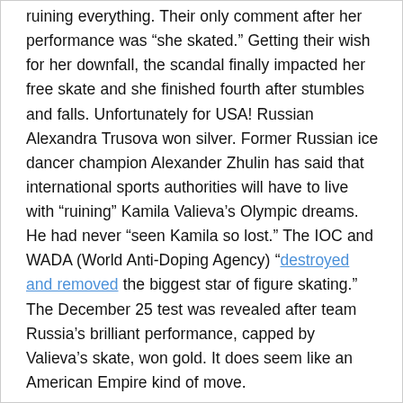ruining everything. Their only comment after her performance was "she skated." Getting their wish for her downfall, the scandal finally impacted her free skate and she finished fourth after stumbles and falls. Unfortunately for USA! Russian Alexandra Trusova won silver. Former Russian ice dancer champion Alexander Zhulin has said that international sports authorities will have to live with "ruining" Kamila Valieva's Olympic dreams. He had never "seen Kamila so lost." The IOC and WADA (World Anti-Doping Agency) "destroyed and removed the biggest star of figure skating." The December 25 test was revealed after team Russia's brilliant performance, capped by Valieva's skate, won gold. It does seem like an American Empire kind of move.